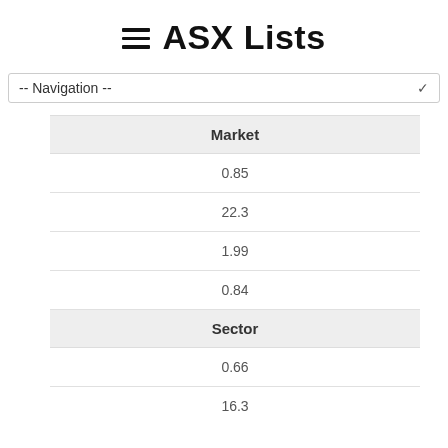≡ ASX Lists
-- Navigation --
| Market |
| --- |
| 0.85 |
| 22.3 |
| 1.99 |
| 0.84 |
| Sector |
| 0.66 |
| 16.3 |